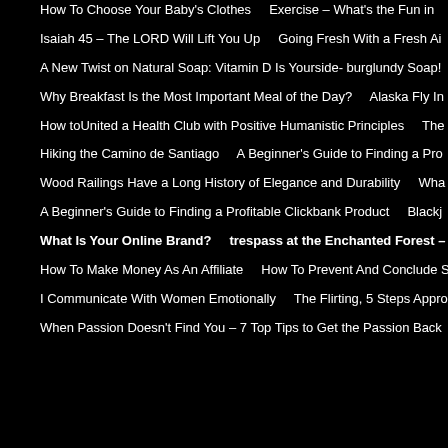How To Choose Your Baby's Clothes    Exercise – What's the Fun in
Isaiah 45 – The LORD Will Lift You Up    Going Fresh With a Fresh Ai
A New Twist on Natural Soap: Vitamin D Is Yourside- burglundy Soap!
Why Breakfast Is the Most Important Meal of the Day?    Alaska Fly In
How toUnited a Health Club with Positive Humanistic Principles    The
Hiking the Camino de Santiago    A Beginner's Guide to Finding a Pro
Wood Railings Have a Long History of Elegance and Durability    Wha
A Beginner's Guide to Finding a Profitable Clickbank Product    Blackj
What Is Your Online Brand?    trespass at the Enchanted Forest – Cro
How To Make Money As An Affiliate    How To Prevent And Conclude S
I Communicate With Women Emotionally    The Flirting, 5 Steps Appro
When Passion Doesn't Find You – 7 Top Tips to Get the Passion Back